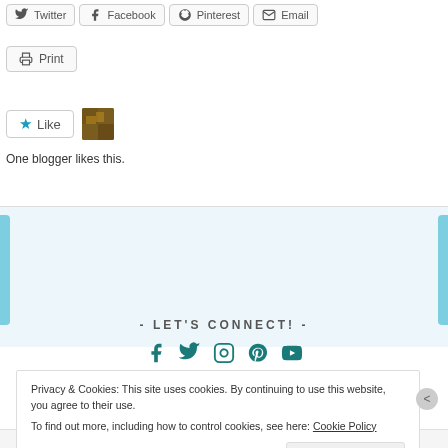[Figure (screenshot): Share buttons row: Twitter, Facebook, Pinterest, Email]
[Figure (screenshot): Print button]
[Figure (screenshot): Like widget with star button and avatar thumbnail]
One blogger likes this.
- LET'S CONNECT! -
[Figure (screenshot): Social media icons: Facebook, Twitter, Instagram, Pinterest, YouTube]
Privacy & Cookies: This site uses cookies. By continuing to use this website, you agree to their use.
To find out more, including how to control cookies, see here: Cookie Policy
Close and accept